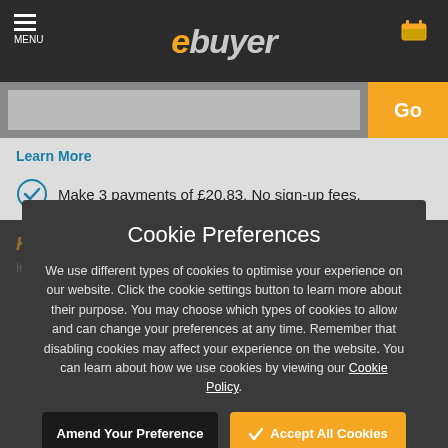ebuyer MENU
Learn More
Make 3 payments of £20.83. No sign-up fees.
Klorno.
Cookie Preferences
We use different types of cookies to optimise your experience on our website. Click the cookie settings button to learn more about their purpose. You may choose which types of cookies to allow and can change your preferences at any time. Remember that disabling cookies may affect your experience on the website. You can learn about how we use cookies by viewing our Cookie Policy.
Amend Your Preference
Accept All Cookies